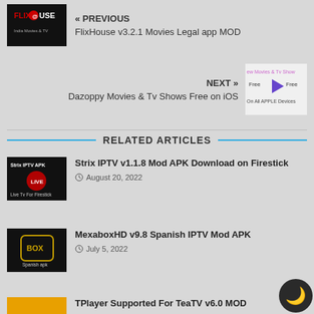[Figure (screenshot): FlixHouse app logo — black background with red and white FLIXHOUSE text and India Movies & TV subtitle]
« PREVIOUS
FlixHouse v3.2.1 Movies Legal app MOD
[Figure (screenshot): Dazoppy streaming app promotional image — shows Free Movies & TV Shows free on all Apple Devices with a play button icon]
NEXT »
Dazoppy Movies & Tv Shows Free on iOS
RELATED ARTICLES
[Figure (screenshot): Strix IPTV APK promotional image — Live TV for Firestick, black background]
Strix IPTV v1.1.8 Mod APK Download on Firestick
August 20, 2022
[Figure (screenshot): MexaboxHD Spanish APK — black background with gold/yellow BOX logo and Spanish apk text]
MexaboxHD v9.8 Spanish IPTV Mod APK
July 5, 2022
[Figure (screenshot): TPlayer app icon — orange/yellow background (partially visible)]
TPlayer Supported For TeaTV v6.0 MOD